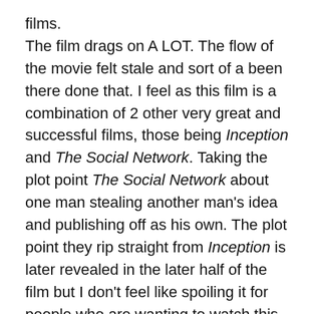films. The film drags on A LOT. The flow of the movie felt stale and sort of a been there done that. I feel as this film is a combination of 2 other very great and successful films, those being Inception and The Social Network. Taking the plot point The Social Network about one man stealing another man's idea and publishing off as his own. The plot point they rip straight from Inception is later revealed in the later half of the film but I don't feel like spoiling it for people who are wanting to watch this latest films. What really upset me was that the story was gripping and interesting up until a point where I found